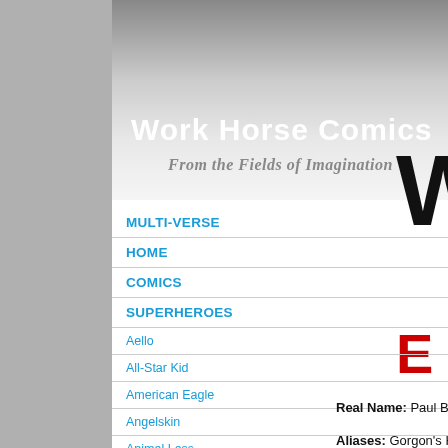Work Horse Comics
From the Fields of Imagination
MULTI-VERSE
HOME
COMICS
SUPERHEROES
Aello
All-Star Kid
American Eagle
Angelskin
Animal Lass
Real Name: Paul Bo... Aliases: Gorgon's H... Occupation: Profess... agent. Known Relatives: G... Francis(sister, decea...